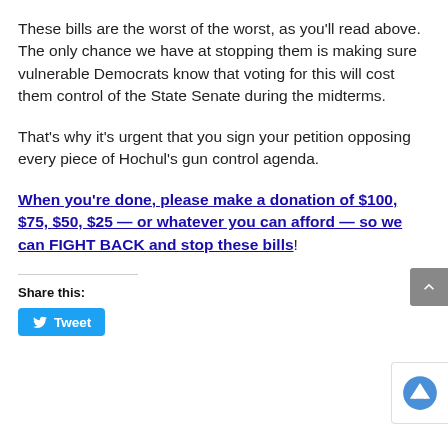These bills are the worst of the worst, as you'll read above. The only chance we have at stopping them is making sure vulnerable Democrats know that voting for this will cost them control of the State Senate during the midterms.
That's why it's urgent that you sign your petition opposing every piece of Hochul's gun control agenda.
When you're done, please make a donation of $100, $75, $50, $25 — or whatever you can afford — so we can FIGHT BACK and stop these bills!
Share this: